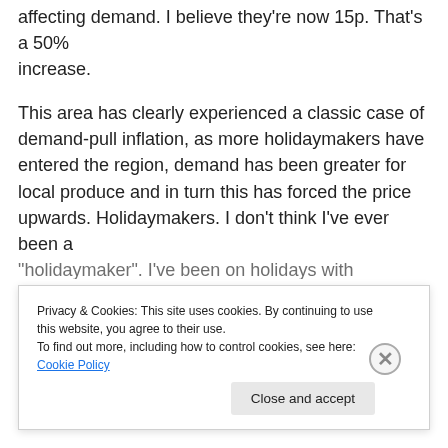affecting demand. I believe they're now 15p. That's a 50% increase.
This area has clearly experienced a classic case of demand-pull inflation, as more holidaymakers have entered the region, demand has been greater for local produce and in turn this has forced the price upwards. Holidaymakers. I don't think I've ever been a "holidaymaker". I've been on holidays with Holiday...
Privacy & Cookies: This site uses cookies. By continuing to use this website, you agree to their use.
To find out more, including how to control cookies, see here: Cookie Policy
Close and accept